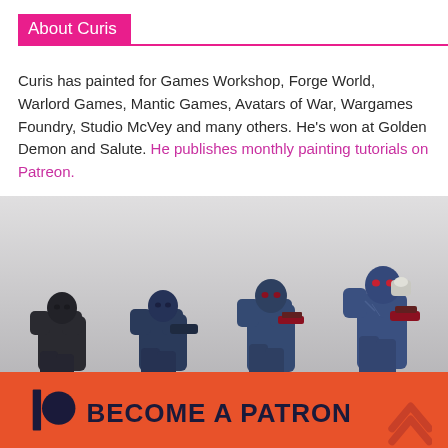About Curis
Curis has painted for Games Workshop, Forge World, Warlord Games, Mantic Games, Avatars of War, Wargames Foundry, Studio McVey and many others. He's won at Golden Demon and Salute. He publishes monthly painting tutorials on Patreon.
[Figure (photo): Four Space Marine miniatures shown in progressive stages of painting, from black undercoat to fully painted blue armor with details, on scenic bases.]
[Figure (infographic): Patreon banner with logo (vertical bar and circle), text 'BECOME A PATRON' in dark navy on coral/orange background, with upward chevron arrow on the right.]